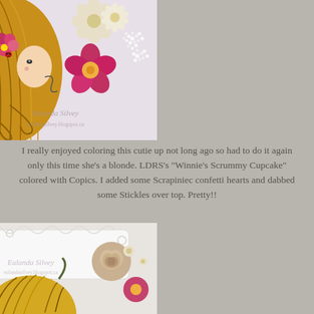[Figure (photo): Close-up photo of a crafted greeting card featuring a girl figure with flowing golden-brown hair and a pink flower, surrounded by decorative paper flowers (pink, cream, white baby's breath). The card has a watermark 'Eulanda Silvey eulandasilvey.blogspot.ca'.]
I really enjoyed coloring this cutie up not long ago so had to do it again only this time she's a blonde.  LDRS's "Winnie's Scrummy Cupcake" colored with Copics.  I added some Scrapiniec confetti hearts and dabbed some Stickles over top.  Pretty!!
[Figure (photo): Close-up photo of the bottom of a crafted card showing a girl's top of head with golden-yellow hair, a white decorative lattice/scroll die-cut border, and floral embellishments (tan rose, pink flower, white flowers). Watermark 'Eulanda Silvey eulandasilvey.blogspot.ca' visible.]